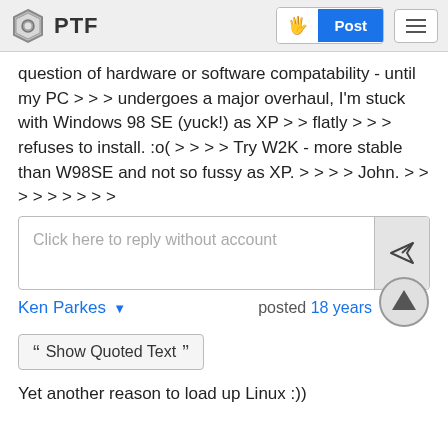PTF
question of hardware or software compatability - until my PC > > > undergoes a major overhaul, I'm stuck with Windows 98 SE (yuck!) as XP > > flatly > > > refuses to install. :o( > > > > Try W2K - more stable than W98SE and not so fussy as XP. > > > > John. > > > > > > > > >
Click here to reply without account
Ken Parkes  posted 18 years
Show Quoted Text
Yet another reason to load up Linux :))